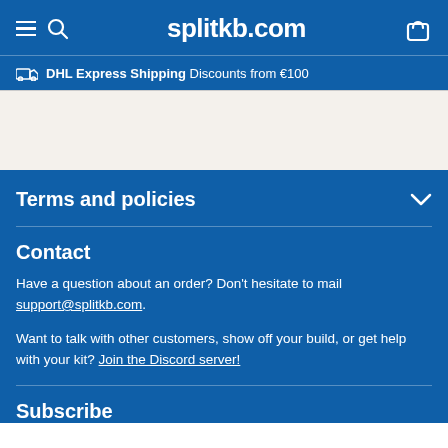splitkb.com
DHL Express Shipping  Discounts from €100
Terms and policies
Contact
Have a question about an order? Don't hesitate to mail support@splitkb.com.
Want to talk with other customers, show off your build, or get help with your kit? Join the Discord server!
Subscribe